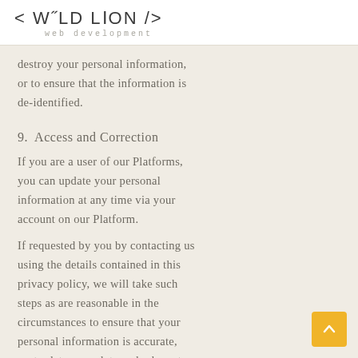< WILD LION /> web development
destroy your personal information, or to ensure that the information is de-identified.
9. Access and Correction
If you are a user of our Platforms, you can update your personal information at any time via your account on our Platform.
If requested by you by contacting us using the details contained in this privacy policy, we will take such steps as are reasonable in the circumstances to ensure that your personal information is accurate, up-to-date, complete and relevant.